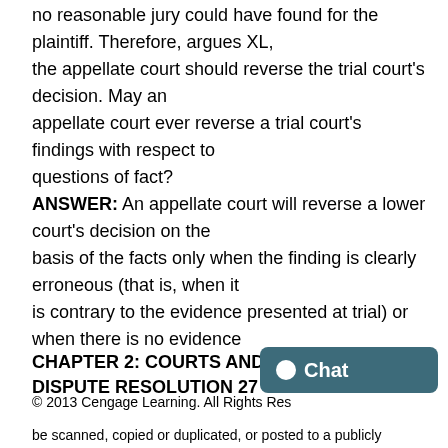no reasonable jury could have found for the plaintiff. Therefore, argues XL, the appellate court should reverse the trial court's decision. May an appellate court ever reverse a trial court's findings with respect to questions of fact? ANSWER: An appellate court will reverse a lower court's decision on the basis of the facts only when the finding is clearly erroneous (that is, when it is contrary to the evidence presented at trial) or when there is no evidence
CHAPTER 2: COURTS AND ALTERNATIVE DISPUTE RESOLUTION 27
© 2013 Cengage Learning. All Rights Res
be scanned, copied or duplicated, or posted to a publicly